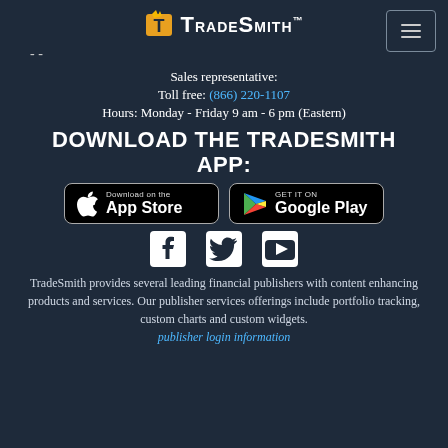TradeSmith™
- -
Sales representative:
Toll free: (866) 220-1107
Hours: Monday - Friday 9 am - 6 pm (Eastern)
DOWNLOAD THE TRADESMITH APP:
[Figure (screenshot): App Store download button with Apple logo]
[Figure (screenshot): Google Play download button with Play logo]
[Figure (infographic): Social media icons: Facebook, Twitter, YouTube]
TradeSmith provides several leading financial publishers with content enhancing products and services. Our publisher services offerings include portfolio tracking, custom charts and custom widgets. publisher login information